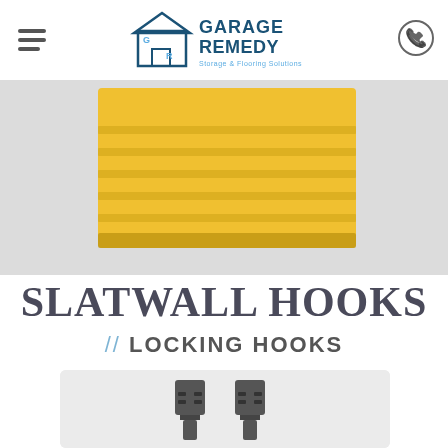Garage Remedy - Storage & Flooring Solutions
[Figure (photo): Yellow slatwall panel section shown in hero banner]
SLATWALL HOOKS
// LOCKING HOOKS
[Figure (photo): Two dark grey/black locking slatwall hooks product image on light grey background]